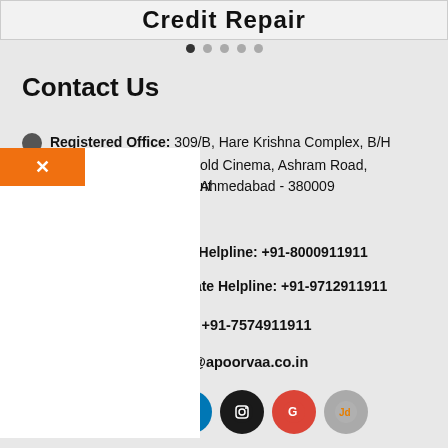[Figure (screenshot): Credit Repair banner/logo at top with slider dots]
Contact Us
Registered Office: 309/B, Hare Krishna Complex, B/H old Cinema, Ashram Road, Ahmedabad - 380009
Client Helpline: +91-8000911911
Associate Helpline: +91-9712911911
Missed Call Number: +91-7574911911
Email id : credithelp@apoorvaa.co.in
[Figure (infographic): Social media icons row: Facebook, Twitter, YouTube, LinkedIn, Instagram, Google, JD]